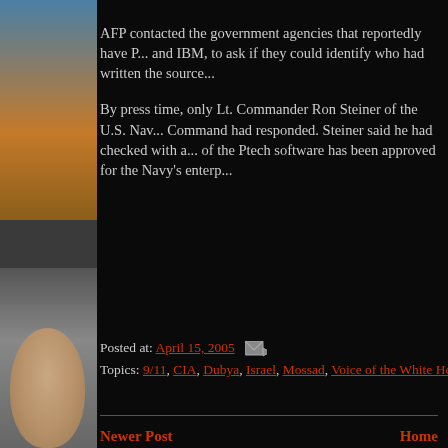AFP contacted the government agencies that reportedly have P... and IBM, to ask if they could identify who had written the source...
By press time, only Lt. Commander Ron Steiner of the U.S. Nav... Command had responded. Steiner said he had checked with a... of the Ptech software has been approved for the Navy's enterp...
Posted at: April 15, 2005
Topics: 9/11, CIA, Dubya, Israel, Mossad, Voice of the White House
Newer Post
Home